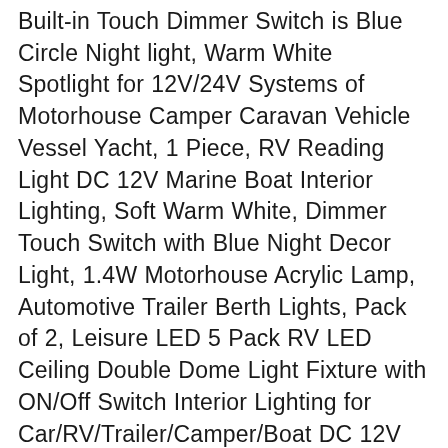Built-in Touch Dimmer Switch is Blue Circle Night light, Warm White Spotlight for 12V/24V Systems of Motorhouse Camper Caravan Vehicle Vessel Yacht, 1 Piece, RV Reading Light DC 12V Marine Boat Interior Lighting, Soft Warm White, Dimmer Touch Switch with Blue Night Decor Light, 1.4W Motorhouse Acrylic Lamp, Automotive Trailer Berth Lights, Pack of 2, Leisure LED 5 Pack RV LED Ceiling Double Dome Light Fixture with ON/Off Switch Interior Lighting for Car/RV/Trailer/Camper/Boat DC 12V 48X2835SMD (Frosted Lens Natural White 4000-4500K, 5-Pack), Facon 5Inch LED RV Panel Light Surface Mount 12V DC Interior Light with On&Off Switch and Blue Indicator for RV Motorhome Camper Caravan Marine (3400K Warm White), Facon LED RV Fabric Light Fixture with Flared Wall Sconce Shade, Wall Mount LED Decor Lamp Bedside Reading Light with Switch, 12V DC Interior Light for RV Motorhome Camper Trailer, Brushed Nickel, 12V RV Bedside Reading Light, SW Warm White, Brushed...